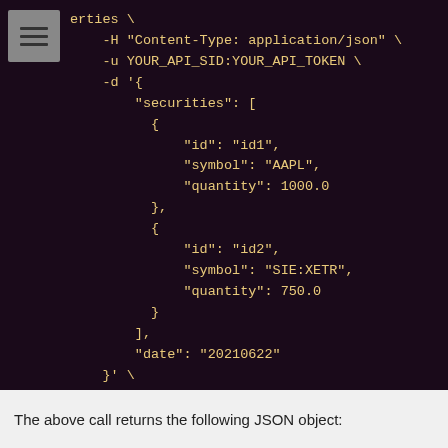[Figure (screenshot): Dark-themed code block showing a curl command with JSON payload containing securities array with AAPL and SIE:XETR entries, followed by -X POST]
The above call returns the following JSON object: